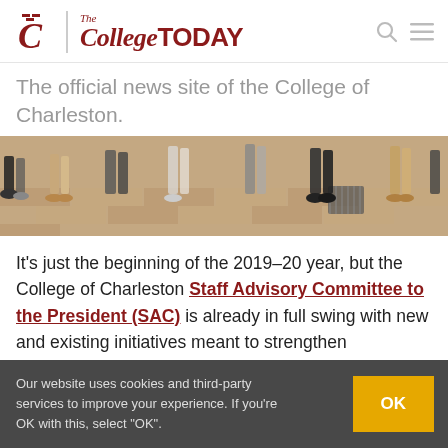The College TODAY — The official news site of the College of Charleston.
[Figure (photo): Photo of people's feet and legs standing on brick pavement outdoors, lower half of bodies visible.]
It's just the beginning of the 2019–20 year, but the College of Charleston Staff Advisory Committee to the President (SAC) is already in full swing with new and existing initiatives meant to strengthen connections and
Our website uses cookies and third-party services to improve your experience. If you're OK with this, select "OK".